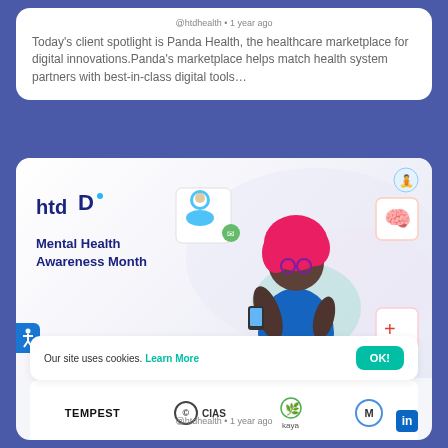@htdhealth • 1 year ago
Today's client spotlight is Panda Health, the healthcare marketplace for digital innovations.Panda's marketplace helps match health system partners with best-in-class digital tools…
[Figure (illustration): HTD health branded banner for Mental Health Awareness Month featuring illustrated woman with pink hair holding a phone, surrounded by health icons (brain, medical cross, meditation figure), with partner logos TEMPEST, CIAS, kaya, and M shown below]
Our site uses cookies. Learn More OK!
@htdhealth • 1 year ago